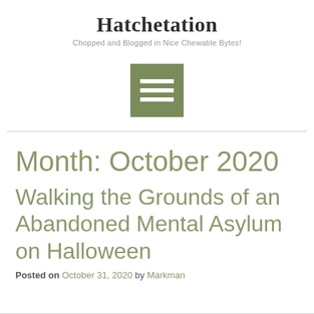Hatchetation
Chopped and Blogged in Nice Chewable Bytes!
[Figure (other): Hamburger menu icon — three horizontal white lines on an olive/sage green square background]
Month: October 2020
Walking the Grounds of an Abandoned Mental Asylum on Halloween
Posted on October 31, 2020 by Markman